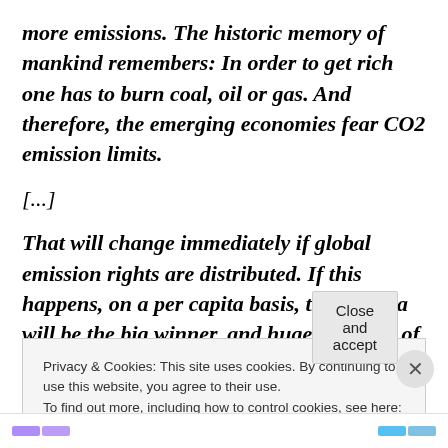more emissions. The historic memory of mankind remembers: In order to get rich one has to burn coal, oil or gas. And therefore, the emerging economies fear CO2 emission limits.
[...]
That will change immediately if global emission rights are distributed. If this happens, on a per capita basis, then Africa will be the big winner, and huge amounts of money will flow there. This will have enormous
Privacy & Cookies: This site uses cookies. By continuing to use this website, you agree to their use.
To find out more, including how to control cookies, see here: Cookie Policy